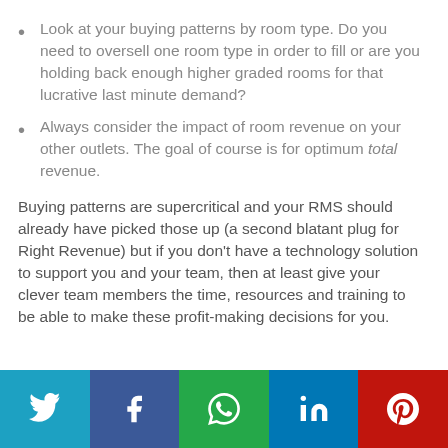Look at your buying patterns by room type. Do you need to oversell one room type in order to fill or are you holding back enough higher graded rooms for that lucrative last minute demand?
Always consider the impact of room revenue on your other outlets. The goal of course is for optimum total revenue.
Buying patterns are supercritical and your RMS should already have picked those up (a second blatant plug for Right Revenue) but if you don't have a technology solution to support you and your team, then at least give your clever team members the time, resources and training to be able to make these profit-making decisions for you.